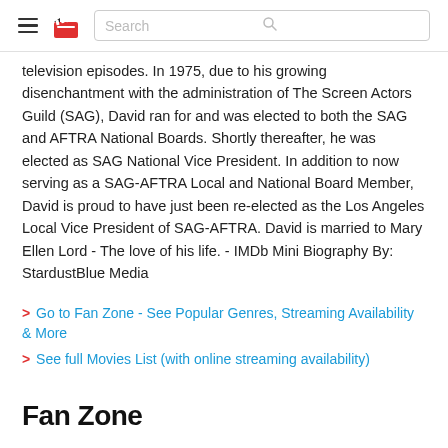Search
television episodes. In 1975, due to his growing disenchantment with the administration of The Screen Actors Guild (SAG), David ran for and was elected to both the SAG and AFTRA National Boards. Shortly thereafter, he was elected as SAG National Vice President. In addition to now serving as a SAG-AFTRA Local and National Board Member, David is proud to have just been re-elected as the Los Angeles Local Vice President of SAG-AFTRA. David is married to Mary Ellen Lord - The love of his life. - IMDb Mini Biography By: StardustBlue Media
> Go to Fan Zone - See Popular Genres, Streaming Availability & More
> See full Movies List (with online streaming availability)
Fan Zone